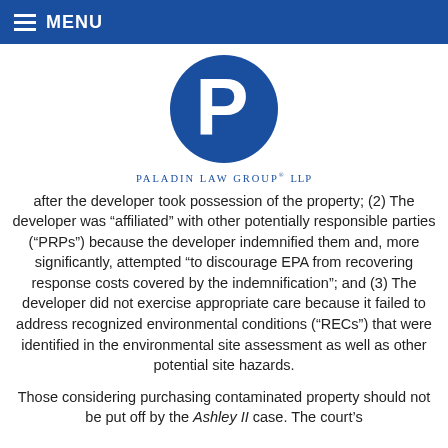MENU
[Figure (logo): Paladin Law Group LLP logo — blue circle with white letter P, and firm name below]
after the developer took possession of the property; (2) The developer was “affiliated” with other potentially responsible parties (“PRPs”) because the developer indemnified them and, more significantly, attempted “to discourage EPA from recovering response costs covered by the indemnification”; and (3) The developer did not exercise appropriate care because it failed to address recognized environmental conditions (“RECs”) that were identified in the environmental site assessment as well as other potential site hazards.
Those considering purchasing contaminated property should not be put off by the Ashley II case. The court’s